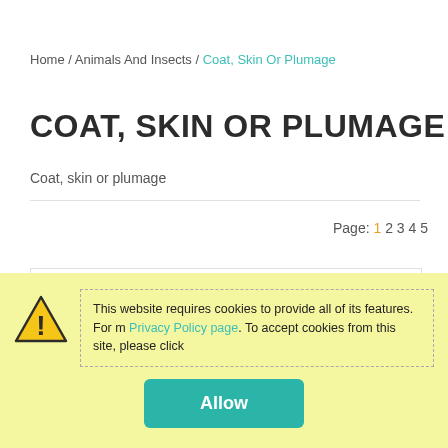Home / Animals And Insects / Coat, Skin Or Plumage
COAT, SKIN OR PLUMAGE
Coat, skin or plumage
Page: 1 2 3 4 5
[Figure (other): Empty white content box with light border]
This website requires cookies to provide all of its features. For m Privacy Policy page. To accept cookies from this site, please click Allow.
Allow